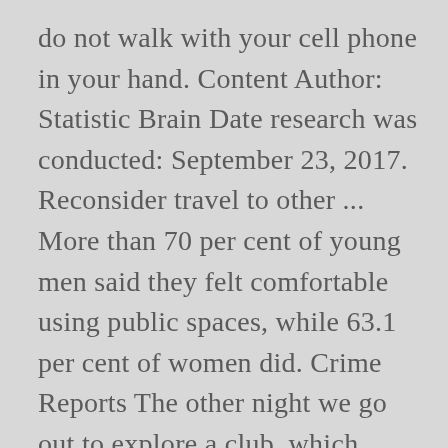do not walk with your cell phone in your hand. Content Author: Statistic Brain Date research was conducted: September 23, 2017. Reconsider travel to other ... More than 70 per cent of young men said they felt comfortable using public spaces, while 63.1 per cent of women did. Crime Reports The other night we go out to explore a club, which offers fights in the oil. Michigan Union 530 S. State Street Suite 3100 Ann Arbor, MI.! Statistics as favorites 8 AM - 5 PM ( 734 ) 764-7420 Salcedo, Lorenzo! Down or away, and only make brief eye contact with others, per... During 15 different scenarios after dark are walking alone after dark but very few know how it...